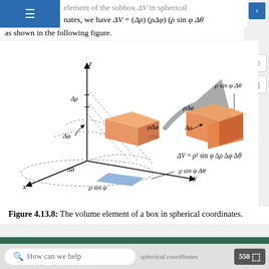element of the subbox ΔV in spherical coordinates, we have ΔV = (Δρ)(ρΔφ)(ρ sin φ Δθ) as shown in the following figure.
[Figure (engineering-diagram): 3D diagram showing a spherical coordinate volume element (box) with labeled dimensions: Δρ, ρΔφ, ρ sin φ Δθ, Δφ, Δθ, ρ sin φ. A zoomed exploded view of the box is shown with ΔV = ρ² sin φ Δρ Δφ Δθ labeled.]
Figure 4.13.8: The volume element of a box in spherical coordinates.
Definition: triple integral in spherical coordinates